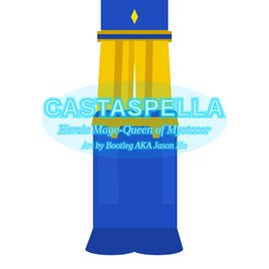[Figure (illustration): Lower body of cartoon character Castaspella in blue and gold costume with blue knee-high boots, yellow tights with gold accents, blue top. Text overlay reads 'CASTASPELLA', 'Heroic Mage-Queen of Mystacor', 'Art by Bootleg AKA Jason Ho' in cyan/light blue stylized font with glow effect.]
click above for larger view
This picture is based on Castaspella's cartoon incarnation, as opposed to her toy incarnation (a pic based on the toy version is in the works). The toy was billed as an "Enchantress who Hypnotizes"; I have instead billed her as "Heroic Mage-Queen of Mystacor" because A) she never hypnotized anyone...